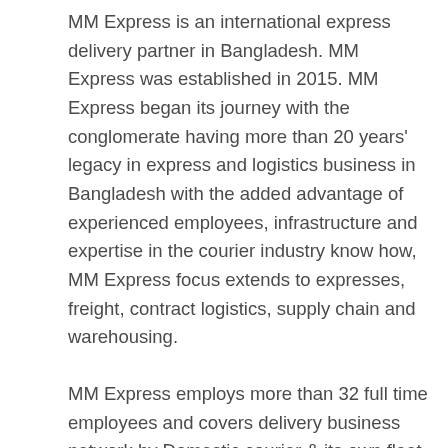MM Express is an international express delivery partner in Bangladesh. MM Express was established in 2015. MM Express began its journey with the conglomerate having more than 20 years' legacy in express and logistics business in Bangladesh with the added advantage of experienced employees, infrastructure and expertise in the courier industry know how, MM Express focus extends to expresses, freight, contract logistics, supply chain and warehousing.
MM Express employs more than 32 full time employees and covers delivery business network by Domestic courier & its own fleet of 2 operations vehicles, 4 branch offices and several service partners. On a monthly basis, MM Express has the capacity to handle more than 10 tons in volume and 1500 thousand in consignments of export and import.